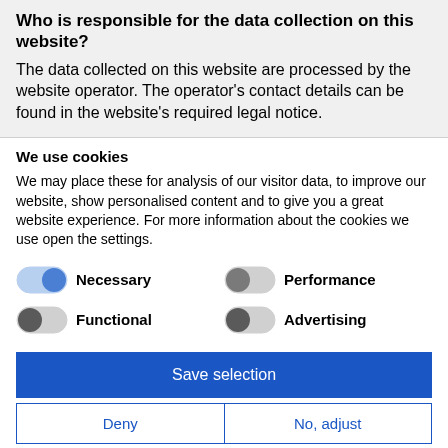Who is responsible for the data collection on this website?
The data collected on this website are processed by the website operator. The operator's contact details can be found in the website's required legal notice.
We use cookies
We may place these for analysis of our visitor data, to improve our website, show personalised content and to give you a great website experience. For more information about the cookies we use open the settings.
Necessary (toggle on) | Performance (toggle off) | Functional (toggle on-left) | Advertising (toggle off)
Save selection
Deny | No, adjust